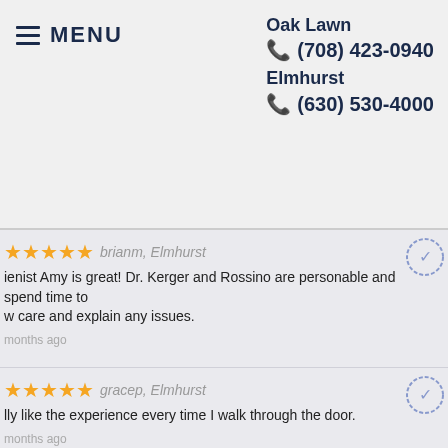MENU | Oak Lawn (708) 423-0940 | Elmhurst (630) 530-4000
★★★★★ brianm, Elmhurst — Hygienist Amy is great! Dr. Kerger and Rossino are personable and spend time to show care and explain any issues. — 3 months ago
★★★★★ gracep, Elmhurst — I really like the experience every time I walk through the door. — 3 months ago
★★★★★ blairh, Lombard — Was taken on time, and had a fast friendly appointment. Thanks!